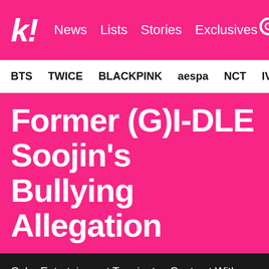k! News Lists Stories Exclusives
BTS TWICE BLACKPINK aespa NCT IVE SHIN...
Former (G)I-DLE Soojin's Bullying Allegation
Cube Entertainment Terminates Contract With Former (G)I-DLE Member Soojin
'JUSTICE FOR SOOJIN' Petition Receives 160,000+ Signatures Following Her Removal From (G)I-DLE
Actress Seo Shin Ae's YouTube Channel Gets Terrorized With Hate Comments Following Soojin's Removal From (G)I-DLE